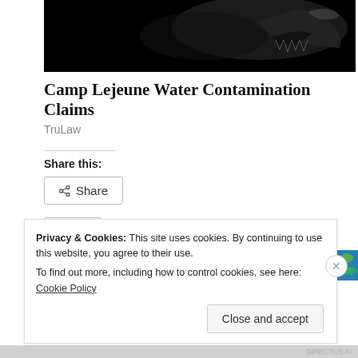[Figure (photo): Black and white hero image, appears to show a shark or similar dark abstract shape against a black background]
Camp Lejeune Water Contamination Claims
TruLaw
Share this:
[Figure (screenshot): Share button with share icon]
[Figure (screenshot): Like button with blue star and 243 bloggers like this. with avatar thumbnails of bloggers]
243 bloggers like this.
Privacy & Cookies: This site uses cookies. By continuing to use this website, you agree to their use.
To find out more, including how to control cookies, see here: Cookie Policy
Close and accept